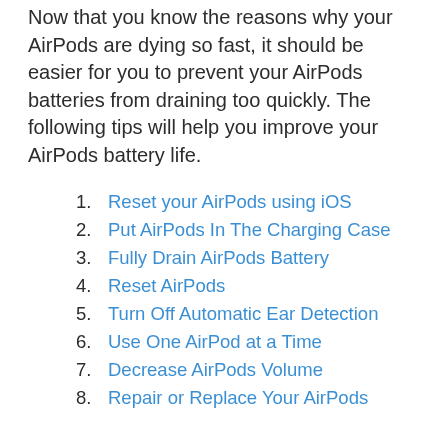Now that you know the reasons why your AirPods are dying so fast, it should be easier for you to prevent your AirPods batteries from draining too quickly. The following tips will help you improve your AirPods battery life.
Reset your AirPods using iOS
Put AirPods In The Charging Case
Fully Drain AirPods Battery
Reset AirPods
Turn Off Automatic Ear Detection
Use One AirPod at a Time
Decrease AirPods Volume
Repair or Replace Your AirPods